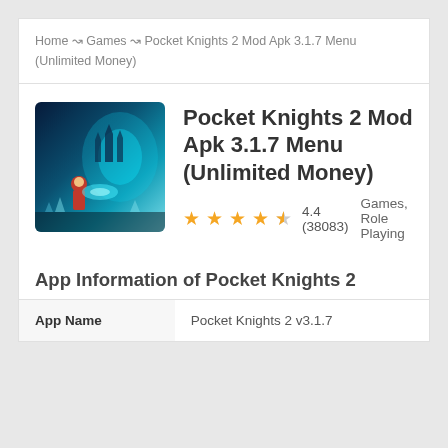Home ↝ Games ↝ Pocket Knights 2 Mod Apk 3.1.7 Menu (Unlimited Money)
Pocket Knights 2 Mod Apk 3.1.7 Menu (Unlimited Money)
4.4 (38083)  Games, Role Playing
App Information of Pocket Knights 2
| App Name |  |
| --- | --- |
| App Name | Pocket Knights 2 v3.1.7 |